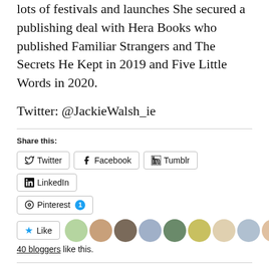lots of festivals and launches She secured a publishing deal with Hera Books who published Familiar Strangers and The Secrets He Kept in 2019 and Five Little Words in 2020.
Twitter: @JackieWalsh_ie
Share this:
Twitter
Facebook
Tumblr
LinkedIn
Pinterest 1
40 bloggers like this.
Related
The Silent Patient by...
The Marriage Betrayal by...